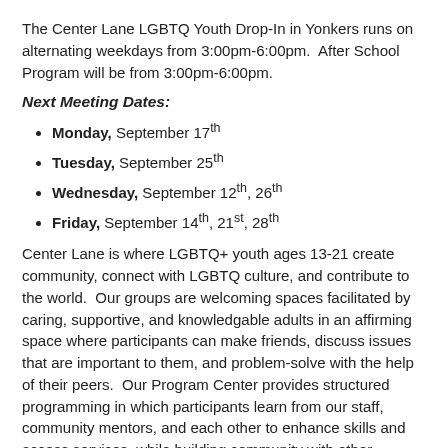The Center Lane LGBTQ Youth Drop-In in Yonkers runs on alternating weekdays from 3:00pm-6:00pm.  After School Program will be from 3:00pm-6:00pm.
Next Meeting Dates:
Monday, September 17th
Tuesday, September 25th
Wednesday, September 12th, 26th
Friday, September 14th, 21st, 28th
Center Lane is where LGBTQ+ youth ages 13-21 create community, connect with LGBTQ culture, and contribute to the world.  Our groups are welcoming spaces facilitated by caring, supportive, and knowledgable adults in an affirming space where participants can make friends, discuss issues that are important to them, and problem-solve with the help of their peers.  Our Program Center provides structured programming in which participants learn from our staff, community mentors, and each other to enhance skills and access services, while building community with other LGBTQ-